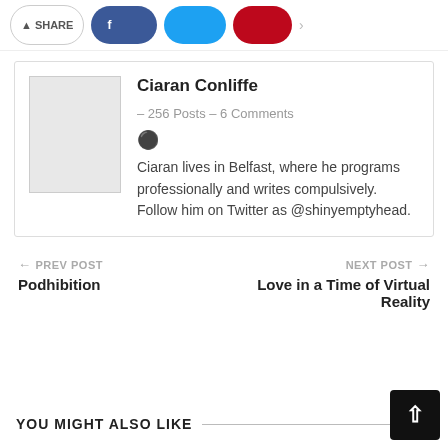[Figure (screenshot): Top social share buttons: Share, Facebook (blue), Twitter (light blue), Pinterest (red)]
Ciaran Conliffe  –  256 Posts  –  6 Comments
Ciaran lives in Belfast, where he programs professionally and writes compulsively. Follow him on Twitter as @shinyemptyhead.
← PREV POST
Podhibition
NEXT POST →
Love in a Time of Virtual Reality
YOU MIGHT ALSO LIKE
All